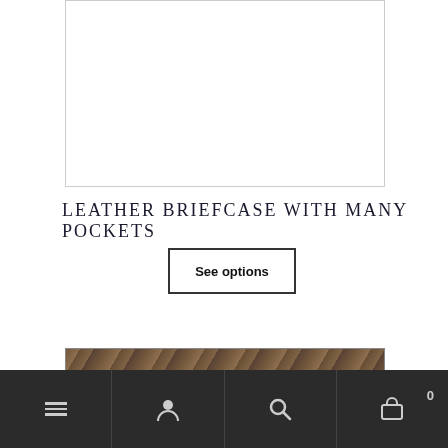[Figure (photo): White/blank product image placeholder box with border]
LEATHER BRIEFCASE WITH MANY POCKETS
See options
[Figure (photo): Partial image of a leather briefcase with dark brown textures and patterns visible at the bottom of the page]
Navigation bar with menu (hamburger), account (person), search, and cart (0 items) icons